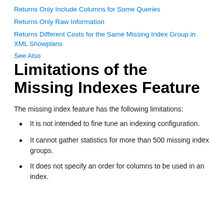Returns Only Include Columns for Some Queries
Returns Only Raw Information
Returns Different Costs for the Same Missing Index Group in XML Showplans
See Also
Limitations of the Missing Indexes Feature
The missing index feature has the following limitations:
It is not intended to fine tune an indexing configuration.
It cannot gather statistics for more than 500 missing index groups.
It does not specify an order for columns to be used in an index.